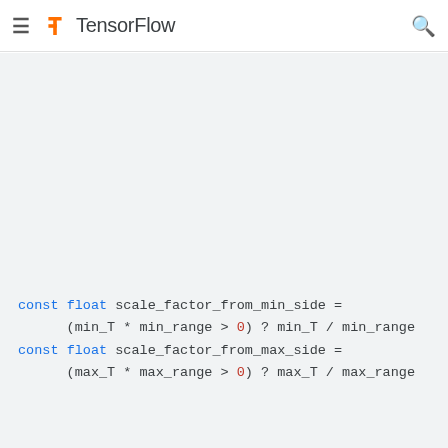TensorFlow
const float scale_factor_from_min_side =
      (min_T * min_range > 0) ? min_T / min_range
const float scale_factor_from_max_side =
      (max_T * max_range > 0) ? max_T / max_range